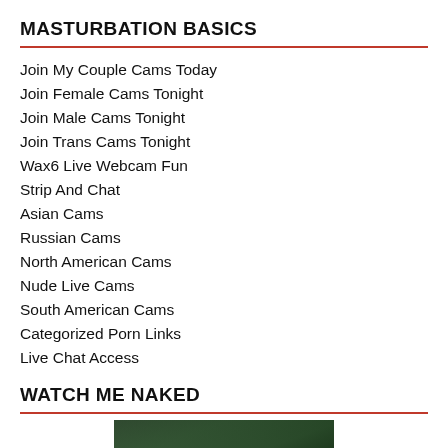MASTURBATION BASICS
Join My Couple Cams Today
Join Female Cams Tonight
Join Male Cams Tonight
Join Trans Cams Tonight
Wax6 Live Webcam Fun
Strip And Chat
Asian Cams
Russian Cams
North American Cams
Nude Live Cams
South American Cams
Categorized Porn Links
Live Chat Access
WATCH ME NAKED
[Figure (photo): Partial thumbnail image, dark greenish background]